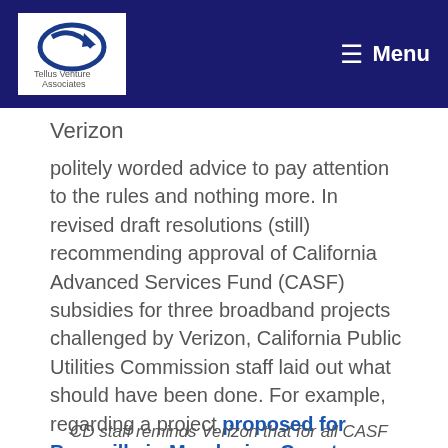Tellus Venture Associates — Menu
Verizon
politely worded advice to pay attention to the rules and nothing more. In revised draft resolutions (still) recommending approval of California Advanced Services Fund (CASF) subsidies for three broadband projects challenged by Verizon, California Public Utilities Commission staff laid out what should have been done. For example, regarding a project proposed for Boonville in Mendocino County…
CD staff reminds Verizon that for all CASF